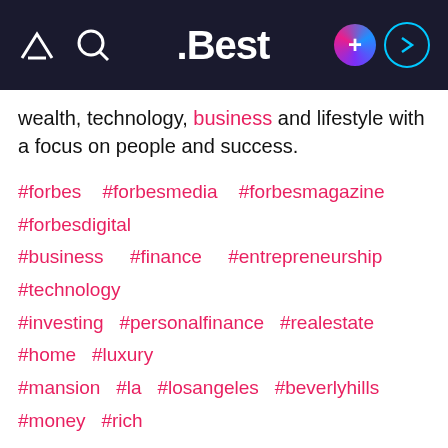.Best
wealth, technology, business and lifestyle with a focus on people and success.
#forbes #forbesmedia #forbesmagazine #forbesdigital #business #finance #entrepreneurship #technology #investing #personalfinance #realestate #home #luxury #mansion #la #losangeles #beverlyhills #money #rich
Best and its partners use cookies to provide you with a better service and to support our business. By continuing to browse or scroll, you agree to the storing of cookies on your device to enhance your Best experience.
Accept cookies
Only essentials
Learn more about our privacy policy.